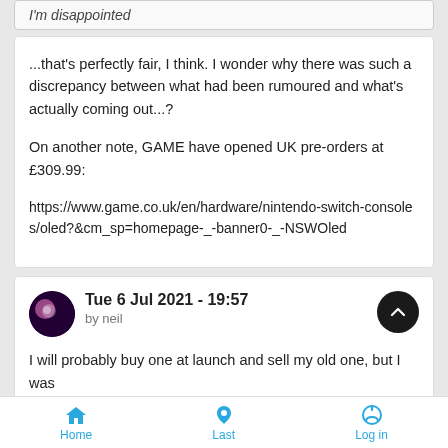I'm disappointed
...that's perfectly fair, I think. I wonder why there was such a discrepancy between what had been rumoured and what's actually coming out...?
On another note, GAME have opened UK pre-orders at £309.99:
https://www.game.co.uk/en/hardware/nintendo-switch-consoles/oled?&cm_sp=homepage-_-banner0-_-NSWOled
Tue 6 Jul 2021 - 19:57
by neil
I will probably buy one at launch and sell my old one, but I was
Home   Last   Log in